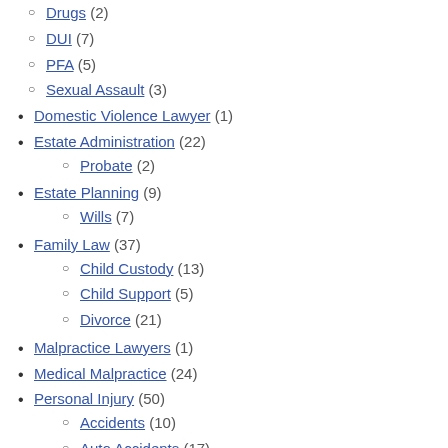Drugs (2)
DUI (7)
PFA (5)
Sexual Assault (3)
Domestic Violence Lawyer (1)
Estate Administration (22)
Probate (2)
Estate Planning (9)
Wills (7)
Family Law (37)
Child Custody (13)
Child Support (5)
Divorce (21)
Malpractice Lawyers (1)
Medical Malpractice (24)
Personal Injury (50)
Accidents (10)
Auto Accidents (17)
Car Accident (3)